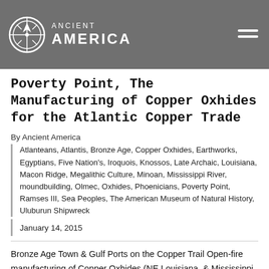Ancient America
Poverty Point, The Manufacturing of Copper Oxhides for the Atlantic Copper Trade
By Ancient America
Atlanteans, Atlantis, Bronze Age, Copper Oxhides, Earthworks, Egyptians, Five Nation's, Iroquois, Knossos, Late Archaic, Louisiana, Macon Ridge, Megalithic Culture, Minoan, Mississippi River, moundbuilding, Olmec, Oxhides, Phoenicians, Poverty Point, Ramses III, Sea Peoples, The American Museum of Natural History, Uluburun Shipwreck
January 14, 2015
Bronze Age Town & Gulf Ports on the Copper Trail Open-fire manufacturing of Copper Oxhides (NE Louisiana, & Mississippi c.2000-700 BC)   J.S. Wakefield, jayswakefield@yahoo.com